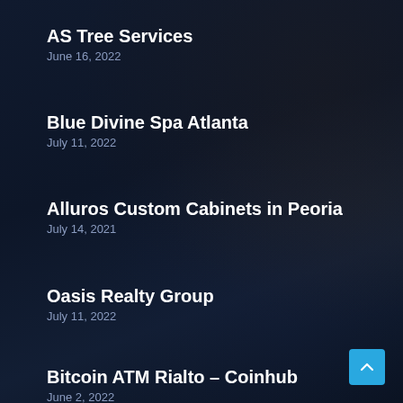AS Tree Services
June 16, 2022
Blue Divine Spa Atlanta
July 11, 2022
Alluros Custom Cabinets in Peoria
July 14, 2021
Oasis Realty Group
July 11, 2022
Bitcoin ATM Rialto – Coinhub
June 2, 2022